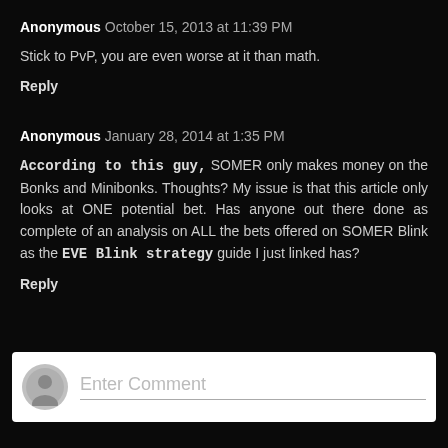Anonymous October 15, 2013 at 11:39 PM
Stick to PvP, you are even worse at it than math.
Reply
Anonymous January 28, 2014 at 1:35 PM
According to this guy, SOMER only makes money on the Bonks and Minibonks. Thoughts? My issue is that this article only looks at ONE potential bet. Has anyone out there done as complete of an analysis on ALL the bets offered on SOMER Blink as the EVE Blink strategy guide I just linked has?
Reply
Enter Comment